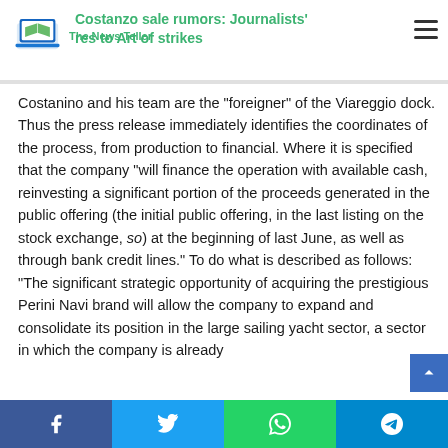Costanzo sale rumors: Journalists' res to Art of strikes
Costanino and his team are the “foreigner” of the Viareggio dock. Thus the press release immediately identifies the coordinates of the process, from production to financial. Where it is specified that the company “will finance the operation with available cash, reinvesting a significant portion of the proceeds generated in the public offering (the initial public offering, in the last listing on the stock exchange, so) at the beginning of last June, as well as through bank credit lines.” To do what is described as follows: “The significant strategic opportunity of acquiring the prestigious Perini Navi brand will allow the company to expand and consolidate its position in the large sailing yacht sector, a sector in which the company is already
Social share bar: Facebook, Twitter, WhatsApp, Telegram